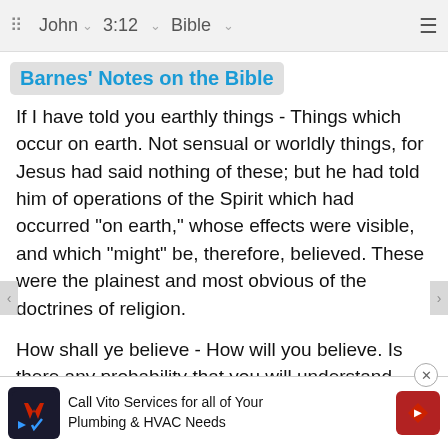John  3:12  Bible
Barnes' Notes on the Bible
If I have told you earthly things - Things which occur on earth. Not sensual or worldly things, for Jesus had said nothing of these; but he had told him of operations of the Spirit which had occurred "on earth," whose effects were visible, and which "might" be, therefore, believed. These were the plainest and most obvious of the doctrines of religion.
How shall ye believe - How will you believe. Is there any probability that you will understand them?
Heavenly things - Things pertaining to the government of God and his doings in the heavens; things more